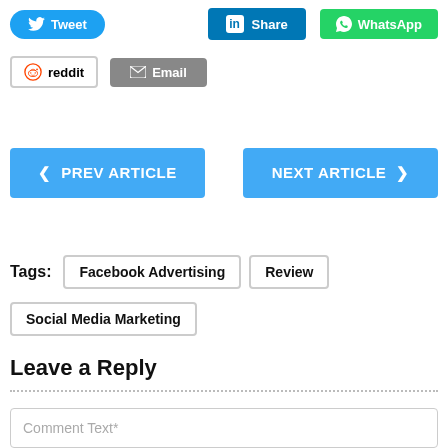[Figure (screenshot): Social share buttons: Tweet (blue), Share on LinkedIn (blue), WhatsApp (green), Reddit (outlined), Email (gray)]
[Figure (screenshot): Navigation buttons: PREV ARTICLE (blue, left arrow) and NEXT ARTICLE (blue, right arrow)]
Tags: Facebook Advertising  Review  Social Media Marketing
Leave a Reply
Comment Text*